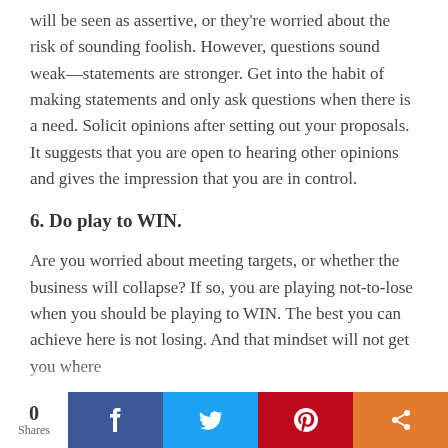will be seen as assertive, or they're worried about the risk of sounding foolish. However, questions sound weak—statements are stronger. Get into the habit of making statements and only ask questions when there is a need. Solicit opinions after setting out your proposals. It suggests that you are open to hearing other opinions and gives the impression that you are in control.
6. Do play to WIN.
Are you worried about meeting targets, or whether the business will collapse? If so, you are playing not-to-lose when you should be playing to WIN. The best you can achieve here is not losing. And that mindset will not get you where
0 Shares